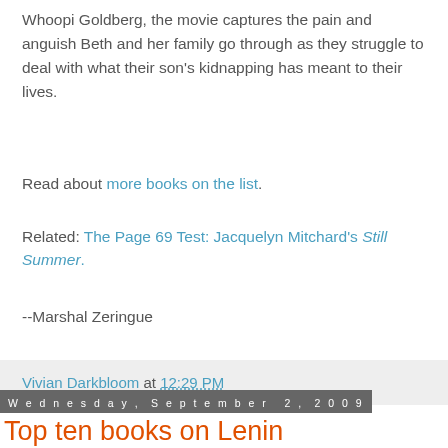Whoopi Goldberg, the movie captures the pain and anguish Beth and her family go through as they struggle to deal with what their son's kidnapping has meant to their lives.
Read about more books on the list.
Related: The Page 69 Test: Jacquelyn Mitchard's Still Summer.
--Marshal Zeringue
Vivian Darkbloom at 12:29 PM
Wednesday, September 2, 2009
Top ten books on Lenin
Helen Rappaport is an historian and Russianist with a specialization in the Victorians and revolutionary Russia. Her books include Ekaterinburg: The Last...